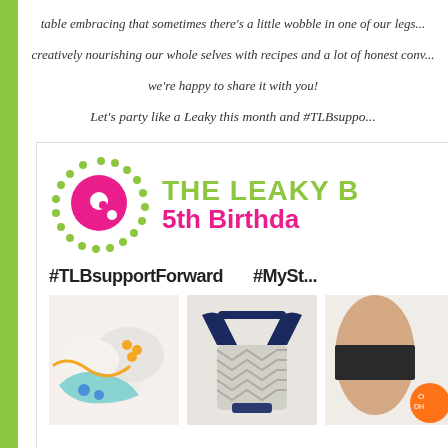table embracing that sometimes there's a little wobble in one of our legs... creatively nourishing our whole selves with recipes and a lot of honest conv... we're happy to share it with you!
Let's party like a Leaky this month and #TLBsuppo...
[Figure (logo): The Leaky B... 5th Birthday logo with dotted circle and pink circle icon, hashtags #TLBsupportForward and #MySt..., and product photos below]
#TLBsupportForward      #MySt...